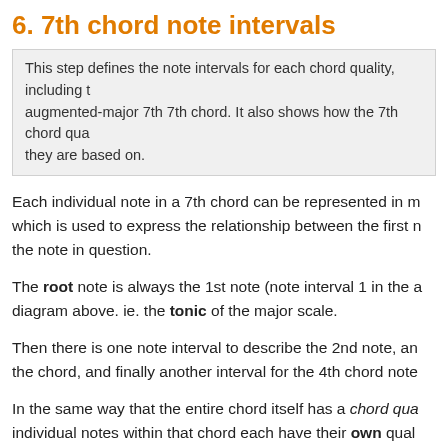6. 7th chord note intervals
This step defines the note intervals for each chord quality, including the augmented-major 7th 7th chord. It also shows how the 7th chord qualities relate to the triads they are based on.
Each individual note in a 7th chord can be represented in music theory as a note interval, which is used to express the relationship between the first note of the chord (the root), and the note in question.
The root note is always the 1st note (note interval 1 in the above diagram above. ie. the tonic of the major scale.
Then there is one note interval to describe the 2nd note, another for the 3rd note of the chord, and finally another interval for the 4th chord note.
In the same way that the entire chord itself has a chord quality, the individual notes within that chord each have their own quality.
These note interval qualities are diminished, minor, major
Below is a table showing the note interval qualities for all 7th chords, with short names / abbrevations in brackets.